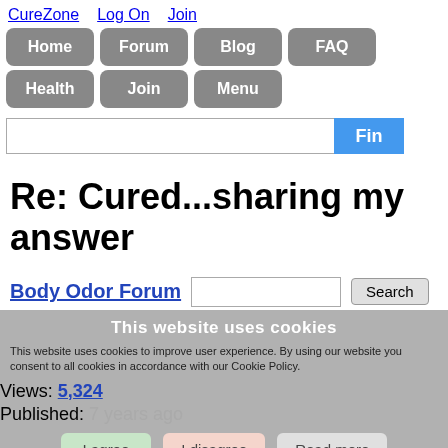CureZone  Log On  Join
Home  Forum  Blog  FAQ
Health  Join  Menu
Re: Cured...sharing my answer
Body Odor Forum
Views: 5,324
Published: 7 years ago
This website uses cookies. This website uses cookies to improve user experience. By using our website you consent to all cookies in accordance with our Cookie Policy.